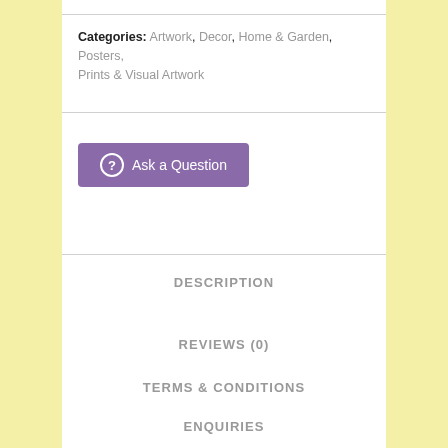Categories: Artwork, Decor, Home & Garden, Posters, Prints & Visual Artwork
[Figure (other): Purple button with question mark icon labeled 'Ask a Question']
DESCRIPTION
REVIEWS (0)
TERMS & CONDITIONS
ENQUIRIES